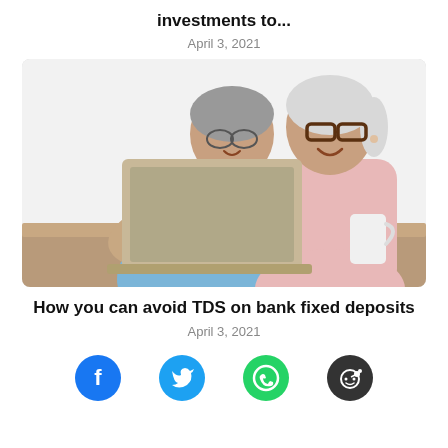investments to...
April 3, 2021
[Figure (photo): An elderly couple smiling and looking at a laptop computer together, seated at a table with a white mug nearby. The man stands behind in a blue shirt, the woman sits in a pink top wearing glasses.]
How you can avoid TDS on bank fixed deposits
April 3, 2021